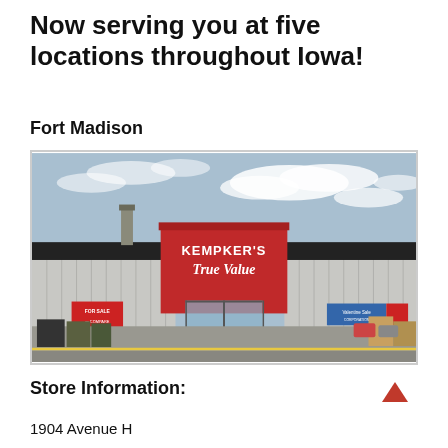Now serving you at five locations throughout Iowa!
Fort Madison
[Figure (photo): Exterior photo of Kempker's True Value hardware store in Fort Madison, Iowa. The store has a large red facade with white signage reading 'KEMPKER'S True Value'. The building has dark metal siding on the sides, large glass entrance doors, and a parking lot in the foreground with merchandise visible outside.]
Store Information:
1904 Avenue H